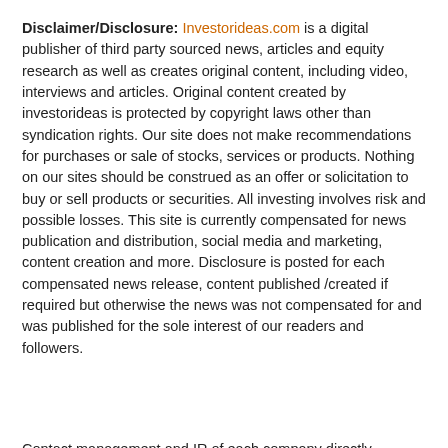Disclaimer/Disclosure: Investorideas.com is a digital publisher of third party sourced news, articles and equity research as well as creates original content, including video, interviews and articles. Original content created by investorideas is protected by copyright laws other than syndication rights. Our site does not make recommendations for purchases or sale of stocks, services or products. Nothing on our sites should be construed as an offer or solicitation to buy or sell products or securities. All investing involves risk and possible losses. This site is currently compensated for news publication and distribution, social media and marketing, content creation and more. Disclosure is posted for each compensated news release, content published /created if required but otherwise the news was not compensated for and was published for the sole interest of our readers and followers.
Contact management and IR of each company directly regarding specific questions.
More disclaimer